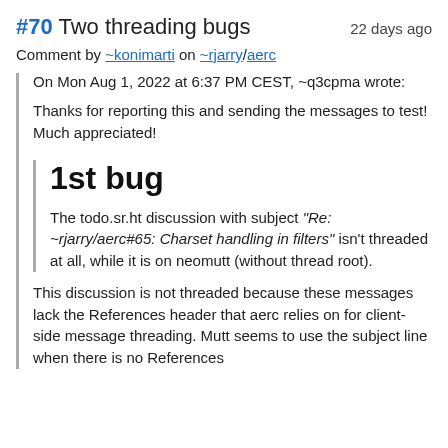#70 Two threading bugs — 22 days ago
Comment by ~konimarti on ~rjarry/aerc
On Mon Aug 1, 2022 at 6:37 PM CEST, ~q3cpma wrote:
Thanks for reporting this and sending the messages to test! Much appreciated!
1st bug
The todo.sr.ht discussion with subject "Re: ~rjarry/aerc#65: Charset handling in filters" isn't threaded at all, while it is on neomutt (without thread root).
This discussion is not threaded because these messages lack the References header that aerc relies on for client-side message threading. Mutt seems to use the subject line when there is no References